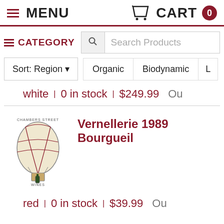MENU    CART 0
CATEGORY   Search Products
Sort: Region   Organic   Biodynamic   L
white | 0 in stock | $249.99   Ou
[Figure (logo): Chambers Street Wines hot air balloon logo]
Vernellerie 1989 Bourgueil
red | 0 in stock | $39.99   Ou